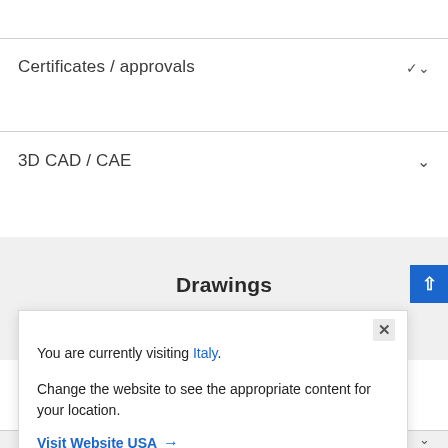Certificates / approvals
3D CAD / CAE
Drawings
You are currently visiting Italy. Change the website to see the appropriate content for your location.
Visit Website USA →